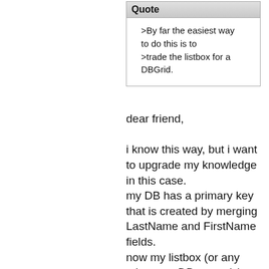| Quote |
| --- |
| >By far the easiest way to do this is to >trade the listbox for a DBGrid. |
dear friend,

i know this way, but i want to upgrade my knowledge in this case.
my DB has a primary key that is created by merging LastName and FirstName fields.
now my listbox (or any other non-DB-controls) contains all values of these fields.
so, when i try to change the pointer to the selected item,
i should search through the database, but i don't know how?
plz tell me the solution of this problem, without refering